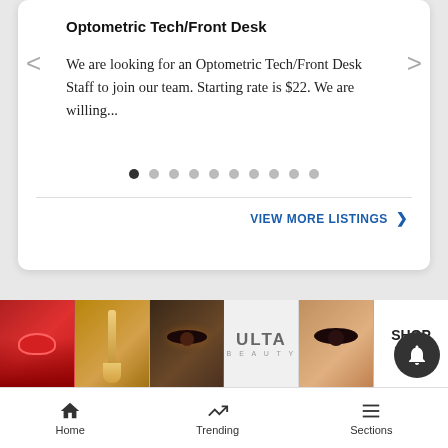Optometric Tech/Front Desk
We are looking for an Optometric Tech/Front Desk Staff to join our team. Starting rate is $22. We are willing...
VIEW MORE LISTINGS ❯
YOUR AD HERE »
[Figure (photo): Banner advertisement for Ulta Beauty showing makeup/cosmetics images with 'SHOP NOW' button]
Home   Trending   Sections